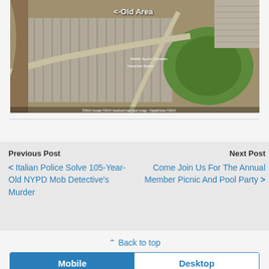[Figure (map): Aerial satellite map view showing a parking lot and sports complex area with '<-Old Area' label overlay]
< Italian Police Solve 105-Year-Old NYPD Mob Detective's Murder
Come Join Us For The Annual Member Picnic And Pool Party >
Previous Post
Next Post
⇑ Back to top
Mobile  Desktop